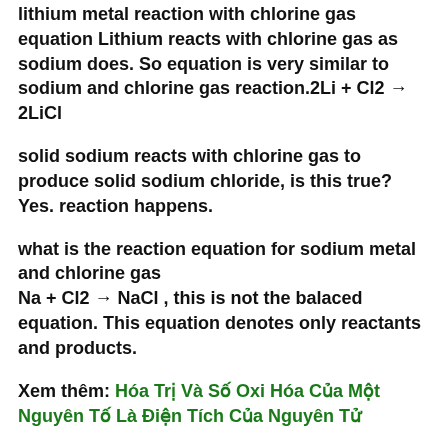lithium metal reaction with chlorine gas equation Lithium reacts with chlorine gas as sodium does. So equation is very similar to sodium and chlorine gas reaction.2Li + Cl2 → 2LiCl
solid sodium reacts with chlorine gas to produce solid sodium chloride, is this true? Yes. reaction happens.
what is the reaction equation for sodium metal and chlorine gas Na + Cl2 → NaCl , this is not the balaced equation. This equation denotes only reactants and products.
Xem thêm: Hóa Trị Và Số Oxi Hóa Của Một Nguyên Tố Là Điện Tích Của Nguyên Tử
na cl2 which is toxic?